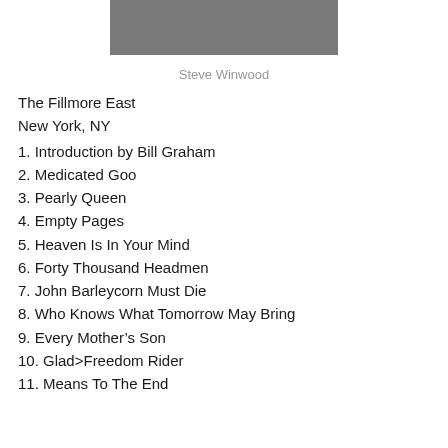[Figure (photo): Cropped photo of Steve Winwood, partially visible, wearing a light gray shirt]
Steve Winwood
The Fillmore East
New York, NY
1. Introduction by Bill Graham
2. Medicated Goo
3. Pearly Queen
4. Empty Pages
5. Heaven Is In Your Mind
6. Forty Thousand Headmen
7. John Barleycorn Must Die
8. Who Knows What Tomorrow May Bring
9. Every Mother’s Son
10. Glad>Freedom Rider
11. Means To The End